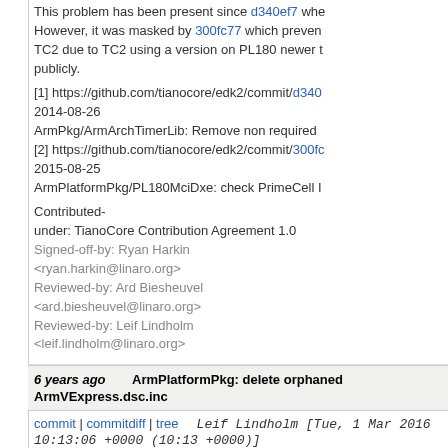This problem has been present since d340ef7 whe... However, it was masked by 300fc77 which preven... TC2 due to TC2 using a version on PL180 newer t... publicly.

[1] https://github.com/tianocore/edk2/commit/d340... 2014-08-26 ArmPkg/ArmArchTimerLib: Remove non required... [2] https://github.com/tianocore/edk2/commit/300fc... 2015-08-25 ArmPlatformPkg/PL180MciDxe: check PrimeCell I...

Contributed-under: TianoCore Contribution Agreement 1.0 Signed-off-by: Ryan Harkin <ryan.harkin@linaro.org> Reviewed-by: Ard Biesheuvel <ard.biesheuvel@linaro.org> Reviewed-by: Leif Lindholm <leif.lindholm@linaro.org>
6 years ago ArmPlatformPkg: delete orphaned ArmVExpress.dsc.inc
commit | commitdiff | tree   Leif Lindholm [Tue, 1 Mar 2016 10:13:06 +0000 (10:13 +0000)]
ArmPlatformPkg: delete orphaned ArmVExpress.d...